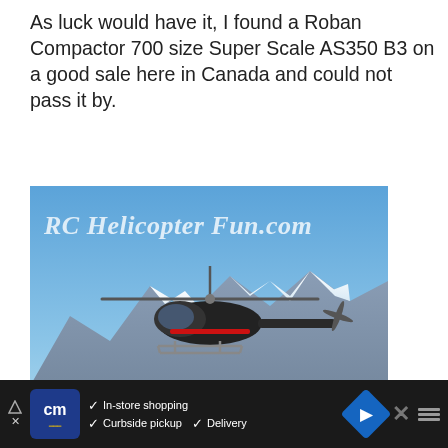As luck would have it, I found a Roban Compactor 700 size Super Scale AS350 B3 on a good sale here in Canada and could not pass it by.
[Figure (photo): Photo of a black Roban 700 Compactor Super Scale AS350 helicopter in flight above snow-capped mountains with blue sky. Watermark text 'RC Helicopter Fun.com' in italic white font overlaid on the image. Social sharing buttons (heart and share) visible on the right side.]
Roban 700 Compactor Super Scale AS350 Helicopter
[Figure (photo): Small thumbnail image labeled 'WHAT'S NEXT' showing BLADE 130X RC...]
Save  0
It was not exactly the color scheme I would
[Figure (other): Advertisement bar at the bottom: CM logo in blue square, checkmarks with 'In-store shopping', 'Curbside pickup', 'Delivery', blue diamond navigation icon, and close X button.]